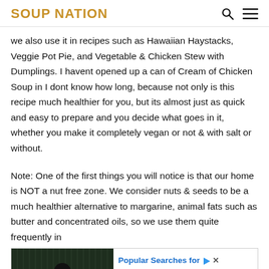SOUP NATION
we also use it in recipes such as Hawaiian Haystacks, Veggie Pot Pie, and Vegetable & Chicken Stew with Dumplings. I havent opened up a can of Cream of Chicken Soup in I dont know how long, because not only is this recipe much healthier for you, but its almost just as quick and easy to prepare and you decide what goes in it, whether you make it completely vegan or not & with salt or without.
Note: One of the first things you will notice is that our home is NOT a nut free zone. We consider nuts & seeds to be a much healthier alternative to margarine, animal fats such as butter and concentrated oils, so we use them quite frequently in
[Figure (photo): Person standing with arms crossed in a dark, rain-like background]
Popular Searches for Employer Of Record Services
Ad